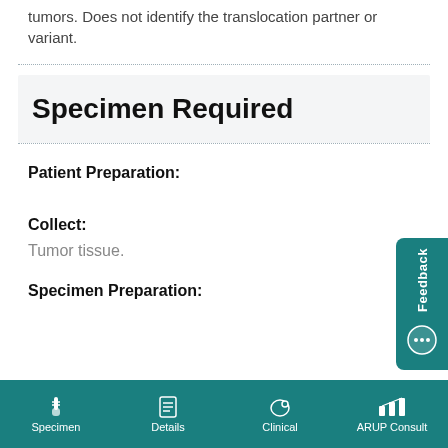tumors. Does not identify the translocation partner or variant.
Specimen Required
Patient Preparation:
Collect:
Tumor tissue.
Specimen Preparation:
Specimen   Details   Clinical   ARUP Consult